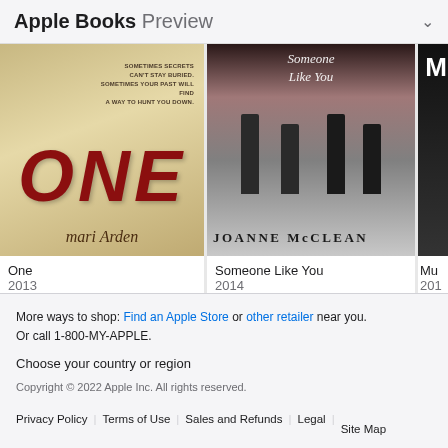Apple Books Preview
[Figure (photo): Book cover for 'One' by Mari Arden, 2013. Cream/beige background with large red 'ONE' text and tagline 'Sometimes secrets can't stay buried. Sometimes your past will find a way to hunt you down.']
One
2013
[Figure (photo): Book cover for 'Someone Like You' by Joanne McClean, 2014. Black and white photo showing two people's feet/legs on a wet surface.]
Someone Like You
2014
[Figure (photo): Partial book cover showing 'M' letter, third book partially visible, dark/night city background.]
Mu...
201...
More ways to shop: Find an Apple Store or other retailer near you.
Or call 1-800-MY-APPLE.
Choose your country or region
Copyright © 2022 Apple Inc. All rights reserved.
Privacy Policy | Terms of Use | Sales and Refunds | Legal | Site Map